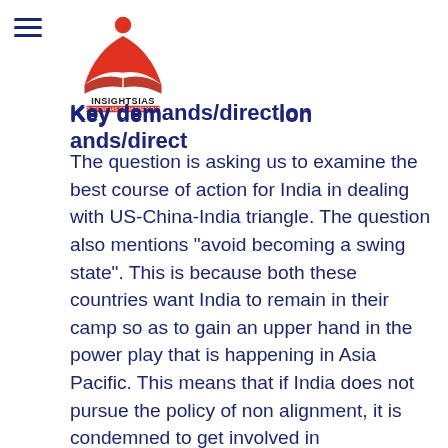[Figure (logo): InsightsIAS logo with red open book icon and text INSIGHTSIAS SIMPLIFYING IAS EXAM PREPARATION]
Key demands/direction
The question is asking us to examine the best course of action for India in dealing with US-China-India triangle. The question also mentions “avoid becoming a swing state”. This is because both these countries want India to remain in their camp so as to gain an upper hand in the power play that is happening in Asia Pacific. This means that if India does not pursue the policy of non alignment, it is condemned to get involved in